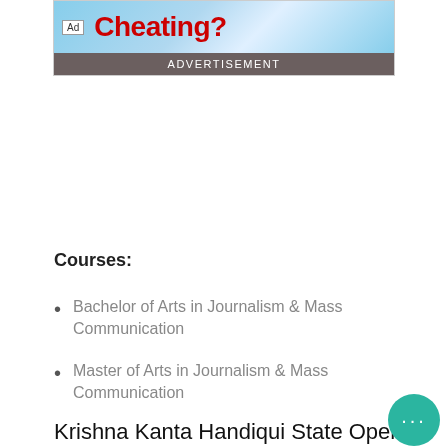[Figure (screenshot): Advertisement banner with 'Ad' label, 'Cheating?' text in red on blue sunburst background, and 'ADVERTISEMENT' bar below in brown/gray.]
Courses:
Bachelor of Arts in Journalism & Mass Communication
Master of Arts in Journalism & Mass Communication
Krishna Kanta Handiqui State Open University
Address: Headquarters: Patgaon, Rani, Guwahati-